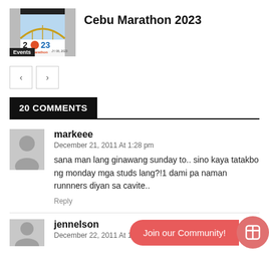Cebu Marathon 2023
[Figure (screenshot): Cebu Marathon 2023 event thumbnail image with logo and date]
20 COMMENTS
markeee
December 21, 2011 At 1:28 pm
sana man lang ginawang sunday to.. sino kaya tatakbo ng monday mga studs lang?!1 dami pa naman runnners diyan sa cavite..
Reply
jennelson
December 22, 2011 At 12:38 am